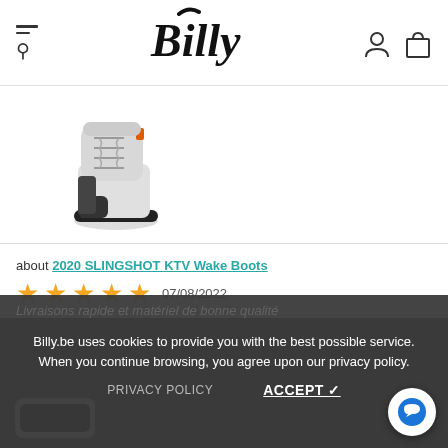Billy
[Figure (photo): Product photo of 2020 SLINGSHOT KTV Wake Boots — grey and black wakeboarding boots]
about 2020 SLINGSHOT KTV Wake Boots
07/08/2022
VERIFIED Marc-André Lys
Perfect
Billy.be uses cookies to provide you with the best possible service. When you continue browsing, you agree upon our privacy policy.
PRIVACY POLICY   ACCEPT ✓